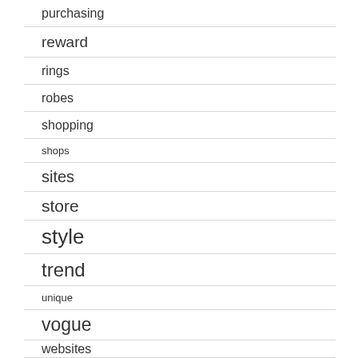purchasing
reward
rings
robes
shopping
shops
sites
store
style
trend
unique
vogue
websites
wedding